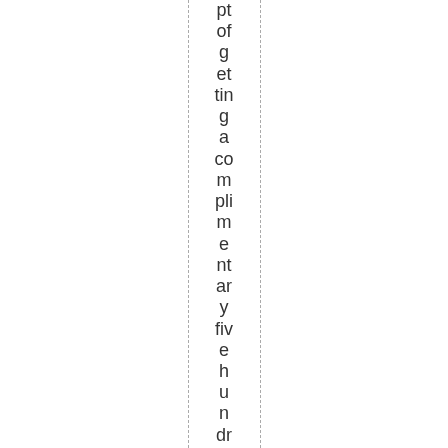pt
of
g
et
tin
g
a
co
m
pli
m
e
nt
ar
y
fiv
e
h
u
n
dr
e
d
d
oll
ar
w
el
co
m